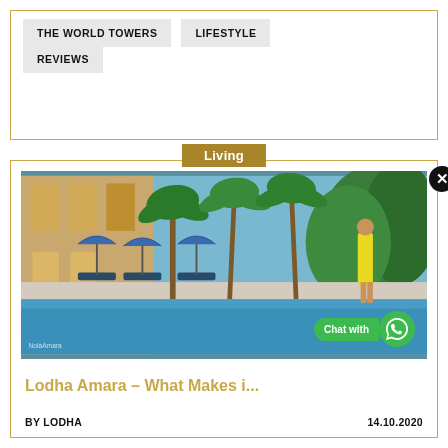THE WORLD TOWERS
LIFESTYLE
REVIEWS
Living
[Figure (photo): Luxury residential pool area with palm trees, sun loungers with blue umbrellas, a building facade, lush greenery, and a woman in a yellow dress walking by the pool. WhatsApp chat bubble overlay in bottom right corner.]
Lodha Amara – What Makes i...
BY LODHA    14.10.2020